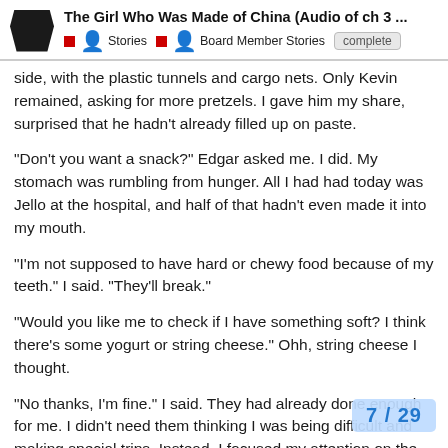The Girl Who Was Made of China (Audio of ch 3 ... | Stories | Board Member Stories | complete
side, with the plastic tunnels and cargo nets. Only Kevin remained, asking for more pretzels. I gave him my share, surprised that he hadn't already filled up on paste.
“Don’t you want a snack?” Edgar asked me. I did. My stomach was rumbling from hunger. All I had had today was Jello at the hospital, and half of that hadn’t even made it into my mouth.
“I’m not supposed to have hard or chewy food because of my teeth.” I said. “They’ll break.”
“Would you like me to check if I have something soft? I think there’s some yogurt or string cheese.” Ohh, string cheese I thought.
“No thanks, I’m fine.” I said. They had already done enough for me. I didn’t need them thinking I was being difficult and making special trips. Instead, I focused my attention on the pouch of juice I hadn’t managed to get open. It took… had finally managed to steady it in the croc…
7 / 29